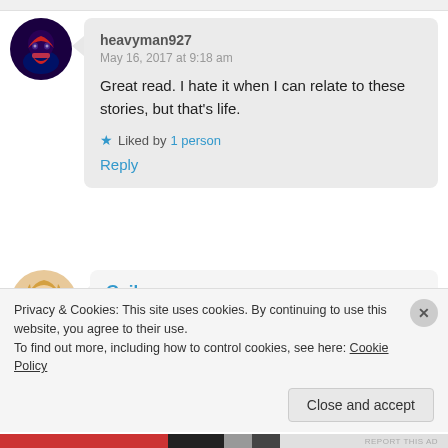heavyman927
May 16, 2017 at 9:18 am
Great read. I hate it when I can relate to these stories, but that's life.
★ Liked by 1 person
Reply
Gail
May 16, 2017 at 2:57 pm
Privacy & Cookies: This site uses cookies. By continuing to use this website, you agree to their use.
To find out more, including how to control cookies, see here: Cookie Policy
Close and accept